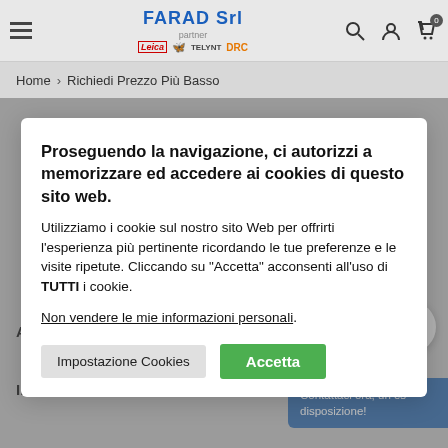FARAD Srl partner Leica DRC — navigation header with hamburger menu, search, account, and cart icons
Home > Richiedi Prezzo Più Basso
Proseguendo la navigazione, ci autorizzi a memorizzare ed accedere ai cookies di questo sito web.
Utilizziamo i cookie sul nostro sito Web per offrirti l'esperienza più pertinente ricordando le tue preferenze e le visite ripetute. Cliccando su "Accetta" acconsenti all'uso di TUTTI i cookie.
Non vendere le mie informazioni personali.
Impostazione Cookies
Accetta
AZIENDA
INFORMAZIONI
Contattaci ora, un es disposizione!